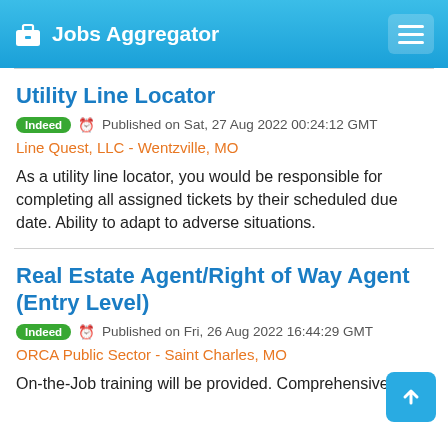Jobs Aggregator
Utility Line Locator
Indeed  Published on Sat, 27 Aug 2022 00:24:12 GMT
Line Quest, LLC - Wentzville, MO
As a utility line locator, you would be responsible for completing all assigned tickets by their scheduled due date. Ability to adapt to adverse situations.
Real Estate Agent/Right of Way Agent (Entry Level)
Indeed  Published on Fri, 26 Aug 2022 16:44:29 GMT
ORCA Public Sector - Saint Charles, MO
On-the-Job training will be provided. Comprehensive